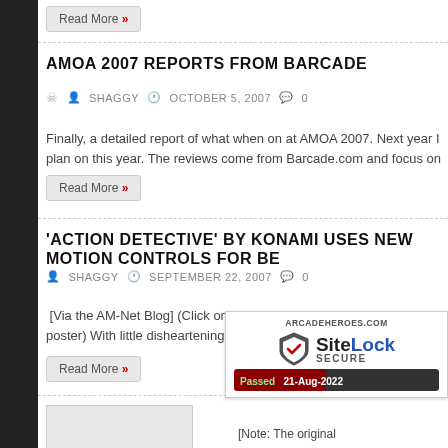Read More »
AMOA 2007 REPORTS FROM BARCADE
SHAGGY   OCTOBER 5, 2007   0
Finally, a detailed report of what when on at AMOA 2007. Next year I plan on this year. The reviews come from Barcade.com and focus on a
Read More »
'ACTION DETECTIVE' BY KONAMI USES NEW MOTION CONTROLS FOR BE
SHAGGY   SEPTEMBER 22, 2007   0
[Via the AM-Net Blog] (Click on the image above to see the full poster) With little disheartening seeing all of the games that
Read More »
[Figure (other): SiteLock SECURE badge with ARCADEHEROES.COM label, shield icon, SiteLock branding, and Passed 21-Aug-2022 date]
[Note: The original